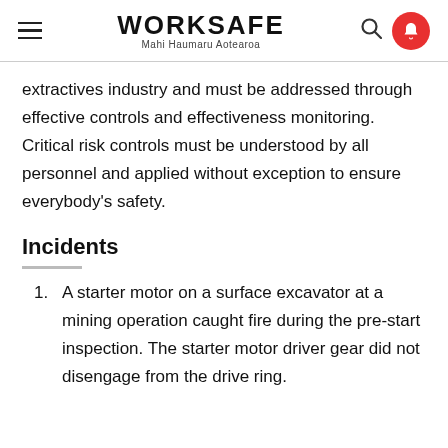WORKSAFE Mahi Haumaru Aotearoa
extractives industry and must be addressed through effective controls and effectiveness monitoring. Critical risk controls must be understood by all personnel and applied without exception to ensure everybody's safety.
Incidents
A starter motor on a surface excavator at a mining operation caught fire during the pre-start inspection. The starter motor driver gear did not disengage from the drive ring.